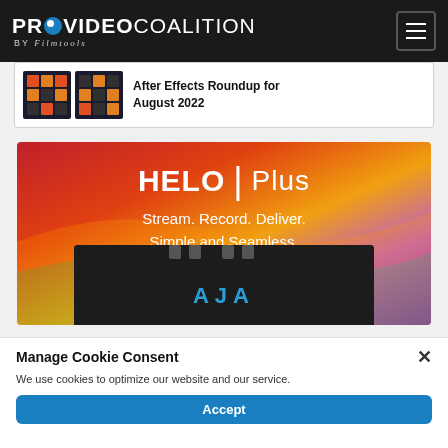PROVIDEO COALITION BY Filmtools
After Effects Roundup for August 2022
[Figure (screenshot): AJA HELO Plus advertisement banner with gradient background (red, orange, yellow, purple). Text: HELO Plus - Stream. Record. Deliver. Simple and Seamless. Shows AJA hardware device at bottom.]
Manage Cookie Consent
We use cookies to optimize our website and our service.
Accept